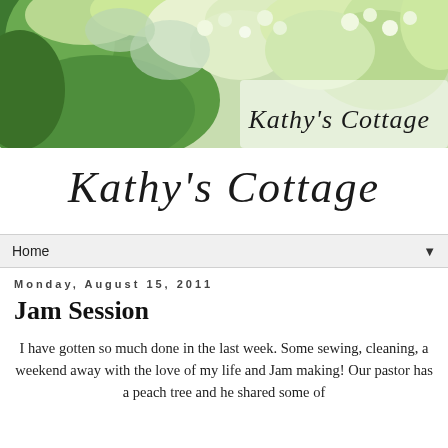[Figure (photo): Blog header banner with hydrangea flowers in green, white, and light blue tones, with 'Kathy's Cottage' text in cursive over the flowers on the right side]
Kathy's Cottage
Home ▼
Monday, August 15, 2011
Jam Session
I have gotten so much done in the last week. Some sewing, cleaning, a weekend away with the love of my life and Jam making! Our pastor has a peach tree and he shared some of